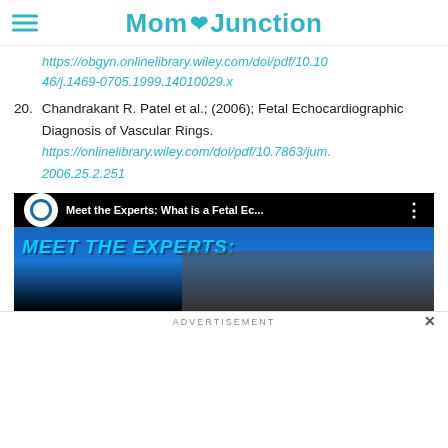MomJunction
https://obgyn.onlinelibrary.wiley.com/doi/pdf/10.1046/j.1469-0705.1999.14010029.x
20. Chandrakant R. Patel et al.; (2006); Fetal Echocardiographic Diagnosis of Vascular Rings. https://onlinelibrary.wiley.com/doi/pdf/10.7863/jum.2006.25.2.251
[Figure (screenshot): Embedded YouTube video thumbnail showing 'Meet the Experts: What is a Fetal Ec...' with Arkansas Children's hospital logo and blue banner with text 'MEET THE EXPERTS:' in cyan italic bold font]
ADVERTISEMENT